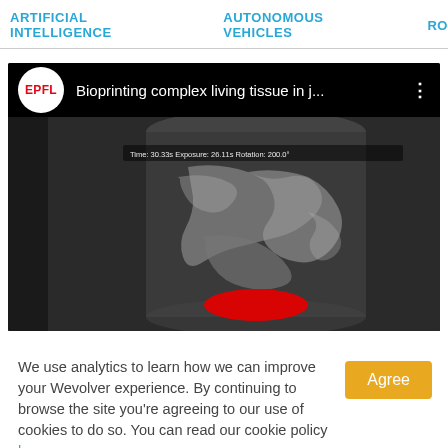ARTIFICIAL INTELLIGENCE   AUTONOMOUS VEHICLES   RO...
[Figure (screenshot): YouTube-style video embed with EPFL logo and title 'Bioprinting complex living tissue in j...' showing a black and white scientific imaging video frame with a red highlighted area at the bottom, on black background.]
We use analytics to learn how we can improve your Wevolver experience. By continuing to browse the site you're agreeing to our use of cookies to do so. You can read our cookie policy here.